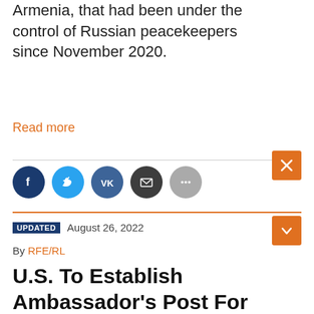Armenia, that had been under the control of Russian peacekeepers since November 2020.
Read more
[Figure (other): Social sharing icons: Facebook, Twitter, VK, Email, More]
UPDATED August 26, 2022
By RFE/RL
U.S. To Establish Ambassador's Post For Arctic As NATO Homes In On Region's Defense